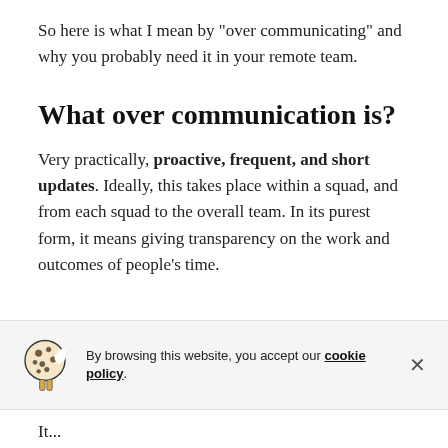So here is what I mean by "over communicating" and why you probably need it in your remote team.
What over communication is?
Very practically, proactive, frequent, and short updates. Ideally, this takes place within a squad, and from each squad to the overall team. In its purest form, it means giving transparency on the work and outcomes of people's time.
By browsing this website, you accept our cookie policy.
It...